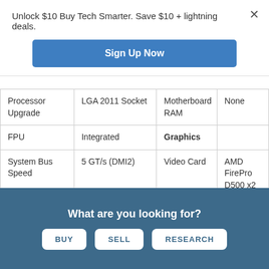Unlock $10 Buy Tech Smarter. Save $10 + lightning deals.
Sign Up Now
|  |  |  |  |
| --- | --- | --- | --- |
| Processor Upgrade | LGA 2011 Socket | Motherboard RAM | None |
| FPU | Integrated | Graphics |  |
| System Bus Speed | 5 GT/s (DMI2) | Video Card | AMD FirePro D500 x2 |
| Cache Bus | 3.5 GHz (Built-in) | VRAM Type | GDDR5 |
What are you looking for?
BUY
SELL
RESEARCH